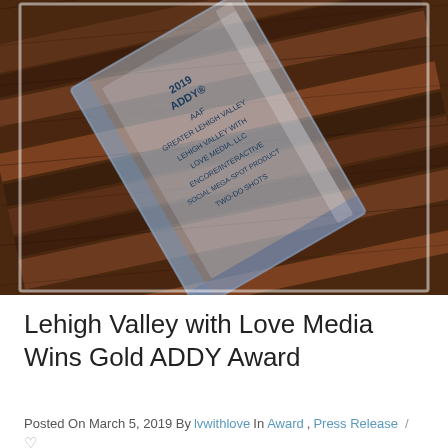[Figure (photo): A clear glass/acrylic ADDY award trophy lying on a dark wood surface. The trophy is rectangular/block shaped and has text engraved: '2019 ADDY AAF GREATER LEHIGH VALLEY LEHIGH VALLEY WITH LOVE MEDIA, LLC ENCORE/INTERACTIVE SOCIAL MEGA-SPOT PRODUCT TWO-DO SHOTS'. The background is a dark brown wooden table with diagonal wood grain planks.]
Lehigh Valley with Love Media Wins Gold ADDY Award
Posted On March 5, 2019 By lvwithlove In Award, Press Release / ♡